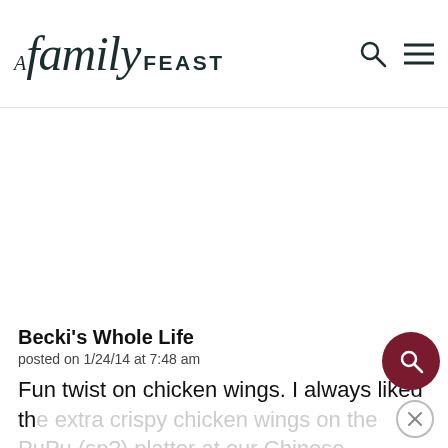A Family FEAST
Becki's Whole Life
posted on 1/24/14 at 7:48 am
Fun twist on chicken wings. I always liked the extra crispy chicken wings on the PuPu (sp?) platter at our Chinese restaurant. The spices on this...